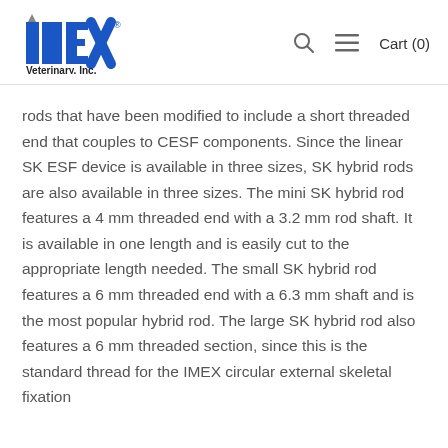IMEX Veterinary, Inc. — Cart (0)
rods that have been modified to include a short threaded end that couples to CESF components. Since the linear SK ESF device is available in three sizes, SK hybrid rods are also available in three sizes. The mini SK hybrid rod features a 4 mm threaded end with a 3.2 mm rod shaft. It is available in one length and is easily cut to the appropriate length needed. The small SK hybrid rod features a 6 mm threaded end with a 6.3 mm shaft and is the most popular hybrid rod. The large SK hybrid rod also features a 6 mm threaded section, since this is the standard thread for the IMEX circular external skeletal fixation